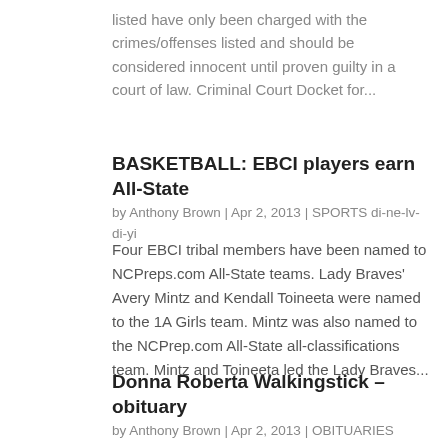listed have only been charged with the crimes/offenses listed and should be considered innocent until proven guilty in a court of law. Criminal Court Docket for...
BASKETBALL: EBCI players earn All-State
by Anthony Brown | Apr 2, 2013 | SPORTS di-ne-lv-di-yi
Four EBCI tribal members have been named to NCPreps.com All-State teams.  Lady Braves' Avery Mintz and Kendall Toineeta were named to the 1A Girls team.  Mintz was also named to the NCPrep.com All-State all-classifications team.  Mintz and Toineeta led the Lady Braves...
Donna Roberta Walkingstick – obituary
by Anthony Brown | Apr 2, 2013 | OBITUARIES